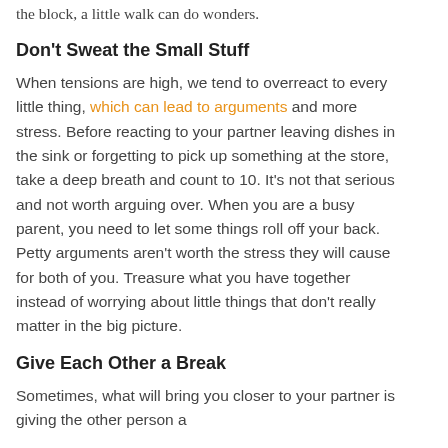the block, a little walk can do wonders.
Don't Sweat the Small Stuff
When tensions are high, we tend to overreact to every little thing, which can lead to arguments and more stress. Before reacting to your partner leaving dishes in the sink or forgetting to pick up something at the store, take a deep breath and count to 10. It's not that serious and not worth arguing over. When you are a busy parent, you need to let some things roll off your back. Petty arguments aren't worth the stress they will cause for both of you. Treasure what you have together instead of worrying about little things that don't really matter in the big picture.
Give Each Other a Break
Sometimes, what will bring you closer to your partner is giving the other person a